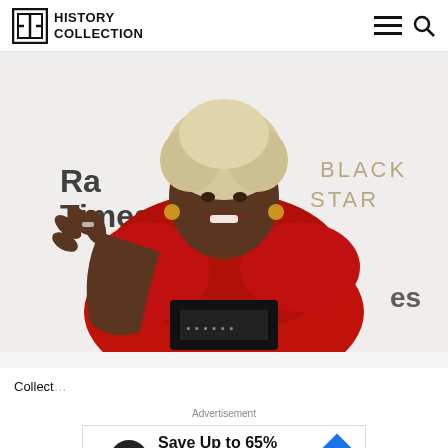History Collection
[Figure (photo): An elderly Black woman with light blonde/white afro hair wearing a bright red fur-trimmed jacket, waving with one hand at a media event. Behind her are signs reading 'Radio Times' and 'Black Star'. She is smiling and wearing large earrings.]
Collect...
Advertisement
Save Up to 65%
Leesburg Premium Outlets